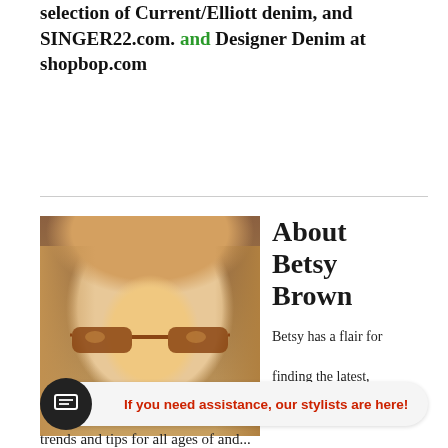selection of Current/Elliott denim, and SINGER22.com. and Designer Denim at shopbop.com
[Figure (photo): Portrait photo of Betsy Brown, a blonde woman wearing sunglasses, outdoors]
About Betsy Brown
Betsy has a flair for finding the latest styles, the hottest
If you need assistance, our stylists are here!
trends and tips for all ages of and...